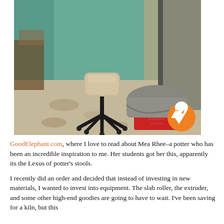[Figure (photo): A workshop or pottery studio with a beige adjustable office chair on wheels (described as 'the Lexus of potter's stools'), and a red bucket wrapped in grey cloth on a stained concrete floor. Background shows green walls and miscellaneous items. A Facebook Messenger icon is visible in the lower right corner of the image.]
GoodElephant.com, where I love to read about Mea Rhee–a potter who has been an incredible inspiration to me. Her students got her this, apparently its the Lexus of potter's stools.
I recently did an order and decided that instead of investing in new materials, I wanted to invest into equipment. The slab roller, the extruder, and some other high-end goodies are going to have to wait. I've been saving for a kiln, but this